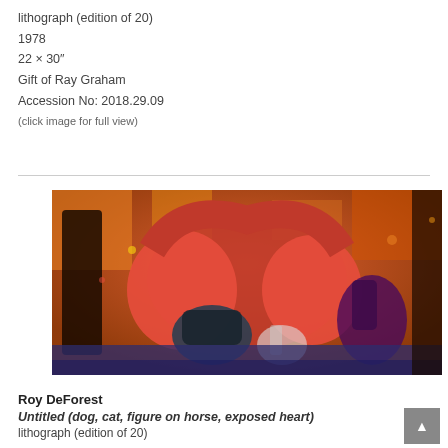lithograph (edition of 20)
1978
22 × 30″
Gift of Ray Graham
Accession No: 2018.29.09
(click image for full view)
[Figure (photo): A colorful lithograph artwork showing animals including dogs, cats, and a figure on a horse with an exposed heart motif. Rich reds, oranges, purples, and blues in a dense, textured style.]
Roy DeForest
Untitled (dog, cat, figure on horse, exposed heart)
lithograph (edition of 20)